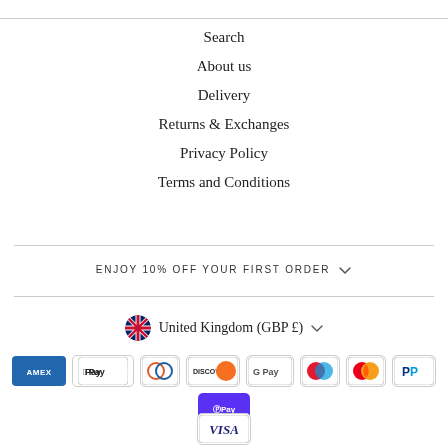Search
About us
Delivery
Returns & Exchanges
Privacy Policy
Terms and Conditions
ENJOY 10% OFF YOUR FIRST ORDER
United Kingdom (GBP £)
[Figure (other): Payment method icons: American Express, Apple Pay, Diners Club, Discover, Google Pay, Maestro, Mastercard, PayPal, Shop Pay, Visa]